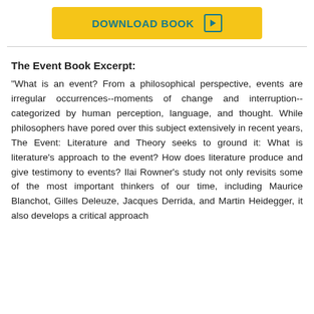[Figure (other): Download Book button with yellow background and teal text and play icon]
The Event Book Excerpt:
"What is an event? From a philosophical perspective, events are irregular occurrences--moments of change and interruption--categorized by human perception, language, and thought. While philosophers have pored over this subject extensively in recent years, The Event: Literature and Theory seeks to ground it: What is literature's approach to the event? How does literature produce and give testimony to events? Ilai Rowner's study not only revisits some of the most important thinkers of our time, including Maurice Blanchot, Gilles Deleuze, Jacques Derrida, and Martin Heidegger, it also develops a critical approach